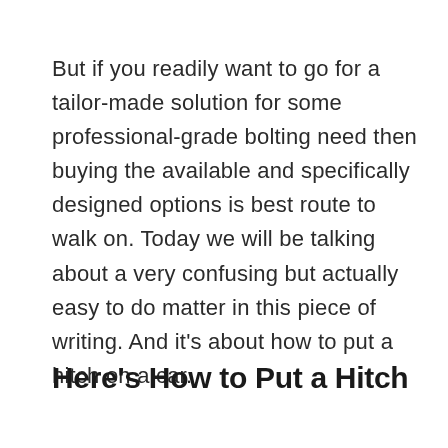But if you readily want to go for a tailor-made solution for some professional-grade bolting need then buying the available and specifically designed options is best route to walk on. Today we will be talking about a very confusing but actually easy to do matter in this piece of writing. And it's about how to put a hitch on a car.
Here's How to Put a Hitch